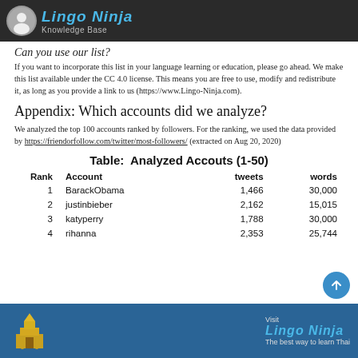Lingo Ninja Knowledge Base
Can you use our list?
If you want to incorporate this list in your language learning or education, please go ahead. We make this list available under the CC 4.0 license. This means you are free to use, modify and redistribute it, as long as you provide a link to us (https://www.Lingo-Ninja.com).
Appendix: Which accounts did we analyze?
We analyzed the top 100 accounts ranked by followers. For the ranking, we used the data provided by https://friendorfollow.com/twitter/most-followers/ (extracted on Aug 20, 2020)
Table: Analyzed Accouts (1-50)
| Rank | Account | tweets | words |
| --- | --- | --- | --- |
| 1 | BarackObama | 1,466 | 30,000 |
| 2 | justinbieber | 2,162 | 15,015 |
| 3 | katyperry | 1,788 | 30,000 |
| 4 | rihanna | 2,353 | 25,744 |
Visit Lingo Ninja The best way to learn Thai